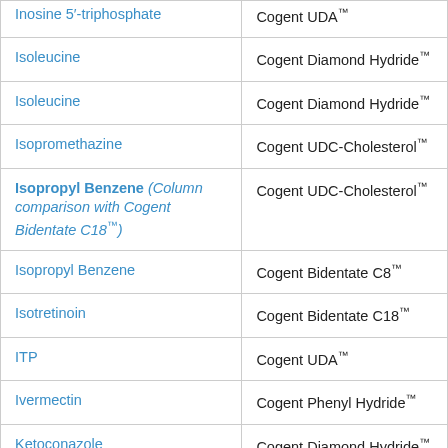| Compound | Column |
| --- | --- |
| Inosine 5′-triphosphate | Cogent UDA™ |
| Isoleucine | Cogent Diamond Hydride™ |
| Isoleucine | Cogent Diamond Hydride™ |
| Isopromethazine | Cogent UDC-Cholesterol™ |
| Isopropyl Benzene (Column comparison with Cogent Bidentate C18™) | Cogent UDC-Cholesterol™ |
| Isopropyl Benzene | Cogent Bidentate C8™ |
| Isotretinoin | Cogent Bidentate C18™ |
| ITP | Cogent UDA™ |
| Ivermectin | Cogent Phenyl Hydride™ |
| Ketoconazole | Cogent Diamond Hydride™ |